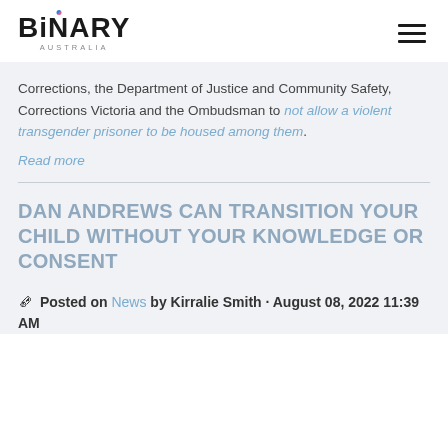BiNARY AUSTRALIA
Corrections, the Department of Justice and Community Safety, Corrections Victoria and the Ombudsman to not allow a violent transgender prisoner to be housed among them.
Read more
DAN ANDREWS CAN TRANSITION YOUR CHILD WITHOUT YOUR KNOWLEDGE OR CONSENT
Posted on News by Kirralie Smith · August 08, 2022 11:39 AM